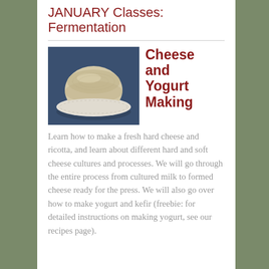JANUARY Classes: Fermentation
[Figure (photo): A round pale-yellow hard cheese sitting on a white textured mat, photographed from above on a blue background.]
Cheese and Yogurt Making
Learn how to make a fresh hard cheese and ricotta, and learn about different hard and soft cheese cultures and processes. We will go through the entire process from cultured milk to formed cheese ready for the press. We will also go over how to make yogurt and kefir (freebie: for detailed instructions on making yogurt, see our recipes page).